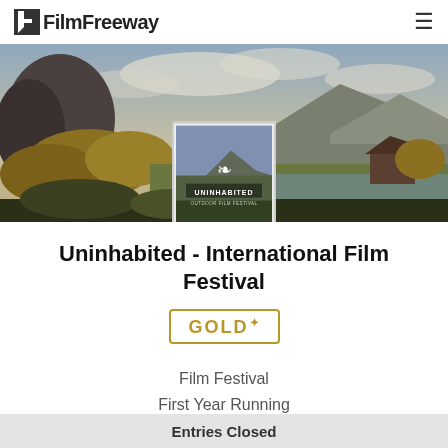FilmFreeway
[Figure (photo): Landscape banner photo showing mountains, trees with autumn foliage, a lake, and overcast sky. A festival logo overlay shows 'UNINHABITED' text with a laurel leaf graphic on a light background.]
Uninhabited - International Film Festival
[Figure (logo): GOLD+ badge with gold border and gold text reading 'GOLD' with a superscript plus sign]
Film Festival
First Year Running
Entries Closed